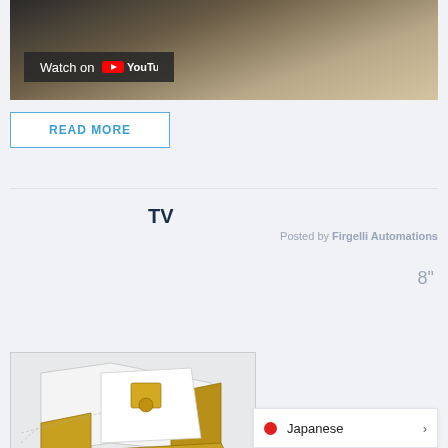[Figure (screenshot): YouTube video thumbnail showing a beige/tan surface, with a 'Watch on YouTube' badge overlay at bottom left]
READ MORE
TV
Posted by Firgelli Automations
8"
[Figure (engineering-diagram): 3D SketchUp model of a TV lift cabinet mechanism with yellow/gold wooden frame and white panels]
Japanese